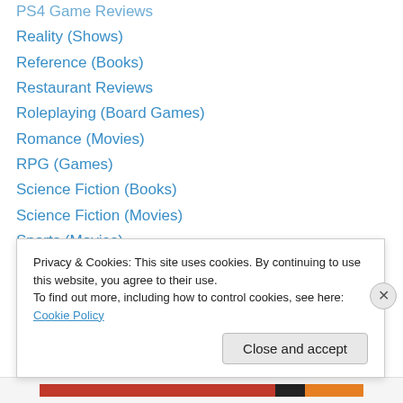PS4 Game Reviews
Reality (Shows)
Reference (Books)
Restaurant Reviews
Roleplaying (Board Games)
Romance (Movies)
RPG (Games)
Science Fiction (Books)
Science Fiction (Movies)
Sports (Movies)
Steampunk (Books)
Television Shows
Thriller (Movies)
Thriller (Shows)
Privacy & Cookies: This site uses cookies. By continuing to use this website, you agree to their use.
To find out more, including how to control cookies, see here: Cookie Policy
Close and accept